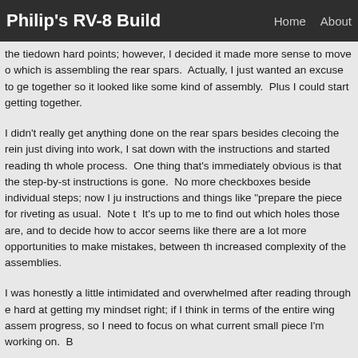Philip's RV-8 Build | Home | About
the tiedown hard points; however, I decided it made more sense to move o which is assembling the rear spars. Actually, I just wanted an excuse to ge together so it looked like some kind of assembly. Plus I could start getting together.
I didn't really get anything done on the rear spars besides clecoing the rein just diving into work, I sat down with the instructions and started reading th whole process. One thing that's immediately obvious is that the step-by-st instructions is gone. No more checkboxes beside individual steps; now I ju instructions and things like "prepare the piece for riveting as usual. Note t It's up to me to find out which holes those are, and to decide how to accor seems like there are a lot more opportunities to make mistakes, between th increased complexity of the assemblies.
I was honestly a little intimidated and overwhelmed after reading through e hard at getting my mindset right; if I think in terms of the entire wing assem progress, so I need to focus on what current small piece I'm working on. B
I guess tomorrow I'll get to work on those rear spars.
Posted in Wings | Hours Logged: 3
Rear spar basics